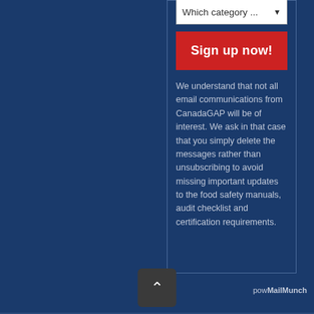[Figure (screenshot): Dropdown select box with placeholder text 'Which category ...' and a dropdown arrow]
[Figure (screenshot): Red 'Sign up now!' button]
We understand that not all email communications from CanadaGAP will be of interest. We ask in that case that you simply delete the messages rather than unsubscribing to avoid missing important updates to the food safety manuals, audit checklist and certification requirements.
powered by MailMunch